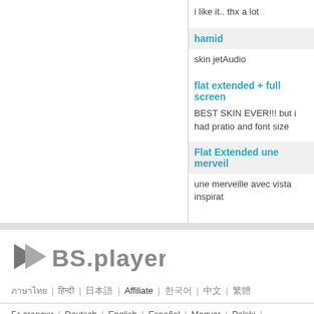i like it.. thx a lot
hamid
skin jetAudio
flat extended + full screen
BEST SKIN EVER!!! but i had pr... ratio and font size
Flat Extended une mervei...
une merveille avec vista inspirat...
-
Ideal skin for widescreen :)
[Figure (logo): BS.player logo with play button icon and stylized text]
Language navigation links: Български | Deutsch | English | Español | Magyar | Polski | Português brasileiro